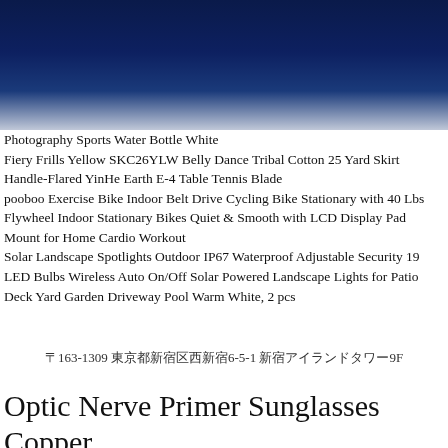[Figure (other): Dark blue gradient header banner]
Photography Sports Water Bottle White
Fiery Frills Yellow SKC26YLW Belly Dance Tribal Cotton 25 Yard Skirt
Handle-Flared YinHe Earth E-4 Table Tennis Blade
pooboo Exercise Bike Indoor Belt Drive Cycling Bike Stationary with 40 Lbs Flywheel Indoor Stationary Bikes Quiet & Smooth with LCD Display Pad Mount for Home Cardio Workout
Solar Landscape Spotlights Outdoor IP67 Waterproof Adjustable Security 19 LED Bulbs Wireless Auto On/Off Solar Powered Landscape Lights for Patio Deck Yard Garden Driveway Pool Warm White, 2 pcs
〒163-1309 東京都新宿区西新宿6-5-1 新宿アイランドタワー9F
Optic Nerve Primer Sunglasses Copper 17057